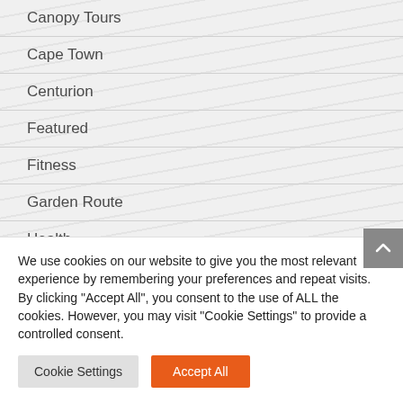Canopy Tours
Cape Town
Centurion
Featured
Fitness
Garden Route
Health
Holidays
We use cookies on our website to give you the most relevant experience by remembering your preferences and repeat visits. By clicking "Accept All", you consent to the use of ALL the cookies. However, you may visit "Cookie Settings" to provide a controlled consent.
Cookie Settings | Accept All